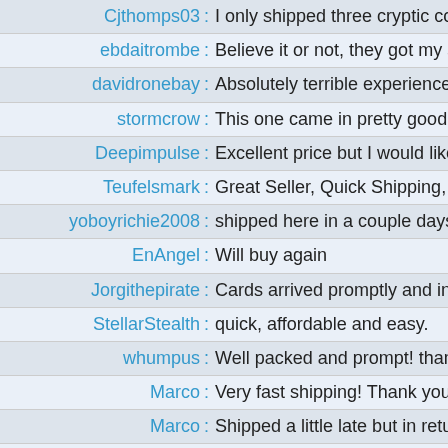Cjthomps03: I only shipped three cryptic command... how to delete on of the orders. so jus...
ebdaitrombe: Believe it or not, they got my stuff to m...
davidronebay: Absolutely terrible experience. One o... they cancel it on a whim and complet...
stormcrow: This one came in pretty good, only tw...
Deepimpulse: Excellent price but I would like to hav...
Teufelsmark: Great Seller, Quick Shipping, A+
yoboyrichie2008: shipped here in a couple days really f...
EnAngel: Will buy again
Jorgithepirate: Cards arrived promptly and in conditi...
StellarStealth: quick, affordable and easy.
whumpus: Well packed and prompt! thanks!
Marco: Very fast shipping! Thank you!
Marco: Shipped a little late but in return they...
Onsan: I sent the payment when I made the p... is the information. Oct. 23, 2009 05:5... payme
zerox: Great cards, great seller! Thx a lot, re...
GMB4279: PAckage has arrived